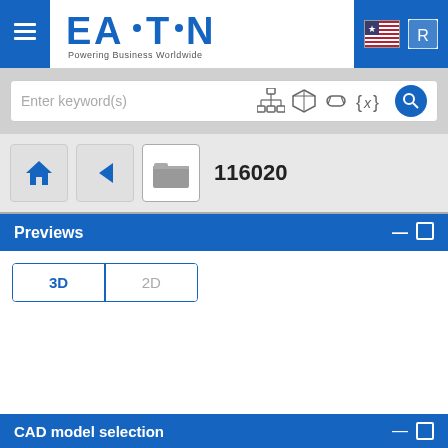[Figure (screenshot): Eaton web application interface showing a CAD model browser. Top blue navigation bar with hamburger menu, Eaton logo, US flag icon, and user icon. Search bar with keyword input and filter icons. Navigation row with home, back, folder button labeled 116020. Previews section with 3D/2D tab toggle. CAD model selection bar at bottom.]